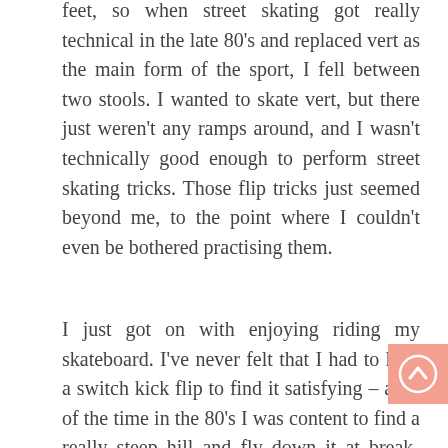feet, so when street skating got really technical in the late 80's and replaced vert as the main form of the sport, I fell between two stools. I wanted to skate vert, but there just weren't any ramps around, and I wasn't technically good enough to perform street skating tricks. Those flip tricks just seemed beyond me, to the point where I couldn't even be bothered practising them.

I just got on with enjoying riding my skateboard. I've never felt that I had to land a switch kick flip to find it satisfying – a lot of the time in the 80's I was content to find a really steep hill and fly down it at break-neck speeds.

But it occurred to me that there's no